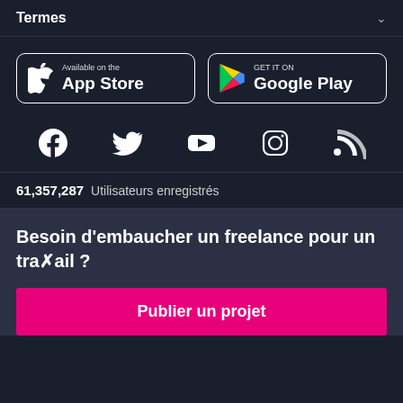Termes
[Figure (logo): App Store and Google Play store download buttons side by side]
[Figure (infographic): Social media icons: Facebook, Twitter, YouTube, Instagram, RSS]
61,357,287 Utilisateurs enregistrés
Besoin d'embaucher un freelance pour un travail ?
Publier un projet